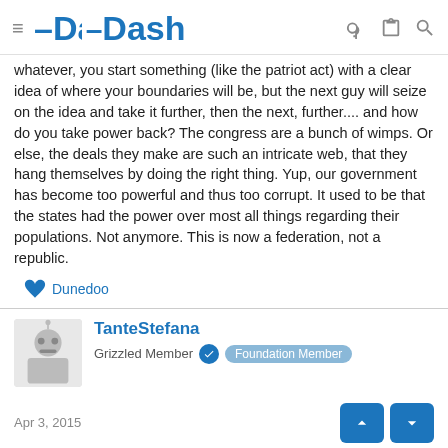Dash
whatever, you start something (like the patriot act) with a clear idea of where your boundaries will be, but the next guy will seize on the idea and take it further, then the next, further.... and how do you take power back? The congress are a bunch of wimps. Or else, the deals they make are such an intricate web, that they hang themselves by doing the right thing. Yup, our government has become too powerful and thus too corrupt. It used to be that the states had the power over most all things regarding their populations. Not anymore. This is now a federation, not a republic.
Dunedoo
TanteStefana
Grizzled Member  Foundation Member
Apr 3, 2015
It's everyone's fault. Look at the constant fall of exchange of a Human...